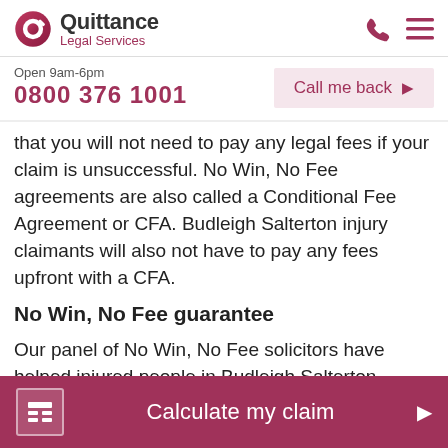Quittance Legal Services
Open 9am-6pm
0800 376 1001
Call me back
that you will not need to pay any legal fees if your claim is unsuccessful. No Win, No Fee agreements are also called a Conditional Fee Agreement or CFA. Budleigh Salterton injury claimants will also not have to pay any fees upfront with a CFA.
No Win, No Fee guarantee
Our panel of No Win, No Fee solicitors have helped injured people in Budleigh Salterton, Devon and throughout the UK make a claim without any financial
Calculate my claim